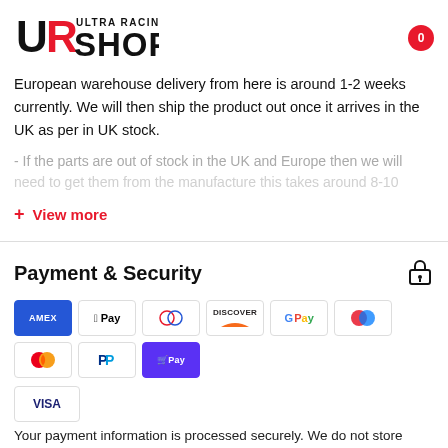[Figure (logo): Ultra Racing Shop logo with UR letters in black and red, text ULTRA RACING SHOP]
European warehouse delivery from here is around 1-2 weeks currently. We will then ship the product out once it arrives in the UK as per in UK stock.
- If the parts are out of stock in the UK and Europe then we will need to get them from the manufacture this takes around 8-10
+ View more
Payment & Security
[Figure (infographic): Payment method icons: AMEX, Apple Pay, Diners Club, Discover, Google Pay, Maestro, Mastercard, PayPal, Shop Pay, Visa]
Your payment information is processed securely. We do not store